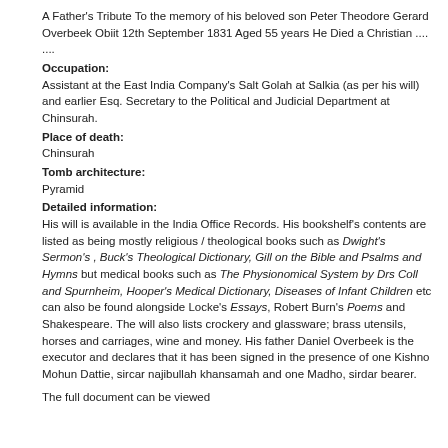A Father's Tribute To the memory of his beloved son Peter Theodore Gerard Overbeek Obiit 12th September 1831 Aged 55 years He Died a Christian .... ....
Occupation:
Assistant at the East India Company's Salt Golah at Salkia (as per his will) and earlier Esq. Secretary to the Political and Judicial Department at Chinsurah.
Place of death:
Chinsurah
Tomb architecture:
Pyramid
Detailed information:
His will is available in the India Office Records. His bookshelf's contents are listed as being mostly religious / theological books such as Dwight's Sermon's , Buck's Theological Dictionary, Gill on the Bible and Psalms and Hymns but medical books such as The Physionomical System by Drs Coll and Spurnheim, Hooper's Medical Dictionary, Diseases of Infant Children etc can also be found alongside Locke's Essays, Robert Burn's Poems and Shakespeare. The will also lists crockery and glassware; brass utensils, horses and carriages, wine and money. His father Daniel Overbeek is the executor and declares that it has been signed in the presence of one Kishno Mohun Dattie, sircar najibullah khansamah and one Madho, sirdar bearer.
The full document can be viewed